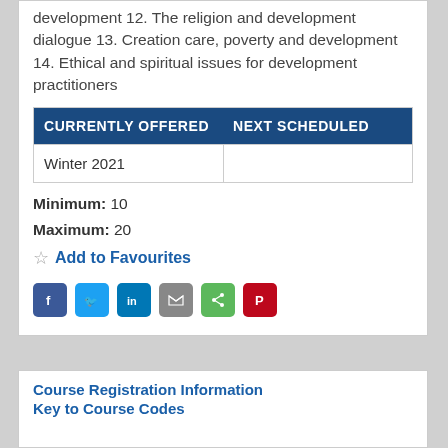development 12. The religion and development dialogue 13. Creation care, poverty and development 14. Ethical and spiritual issues for development practitioners
| CURRENTLY OFFERED | NEXT SCHEDULED |
| --- | --- |
| Winter 2021 |  |
Minimum: 10
Maximum: 20
☆ Add to Favourites
[Figure (infographic): Social sharing icons: Facebook, Twitter, LinkedIn, Email, ShareThis, Pinterest]
Course Registration Information
Key to Course Codes